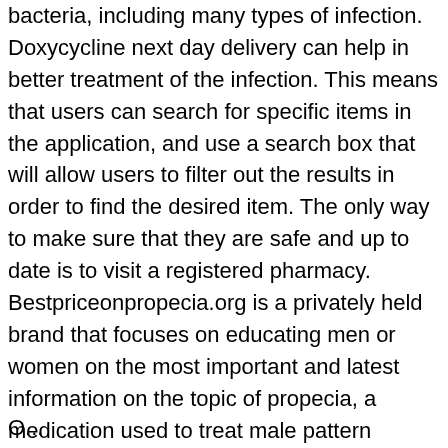bacteria, including many types of infection. Doxycycline next day delivery can help in better treatment of the infection. This means that users can search for specific items in the application, and use a search box that will allow users to filter out the results in order to find the desired item. The only way to make sure that they are safe and up to date is to visit a registered pharmacy. Bestpriceonpropecia.org is a privately held brand that focuses on educating men or women on the most important and latest information on the topic of propecia, a medication used to treat male pattern baldness (mpb). You should also speak to your doctor about whether you are a good candidate for such treatment. Vildagliptin is the name of the diclofenac derivative and is a type of drug belonging to a class of drugs called dpp-4 inhibitors.this drug is used in the treatment of type 2 diabetes and for its various other.it is administered orally and is not given buy lotrisone by injection.
O...